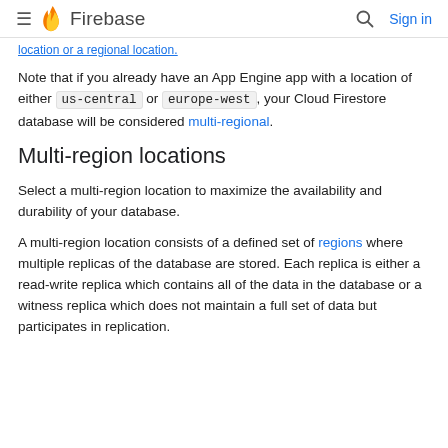≡ Firebase   🔍 Sign in
location or a regional location.
Note that if you already have an App Engine app with a location of either us-central or europe-west, your Cloud Firestore database will be considered multi-regional.
Multi-region locations
Select a multi-region location to maximize the availability and durability of your database.
A multi-region location consists of a defined set of regions where multiple replicas of the database are stored. Each replica is either a read-write replica which contains all of the data in the database or a witness replica which does not maintain a full set of data but participates in replication.